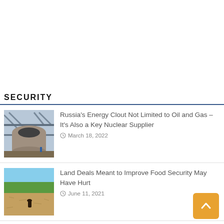SECURITY
[Figure (photo): Industrial machinery, large cylindrical metal components in a structure]
Russia's Energy Clout Not Limited to Oil and Gas – It's Also a Key Nuclear Supplier
March 18, 2022
[Figure (photo): Agricultural field with dry soil and some green trees in background]
Land Deals Meant to Improve Food Security May Have Hurt
June 11, 2021
[Figure (photo): Colorful map or satellite image showing groundwater data with blue/black/teal markings]
Amid US Groundwater Declines, Water Data Gains Importance